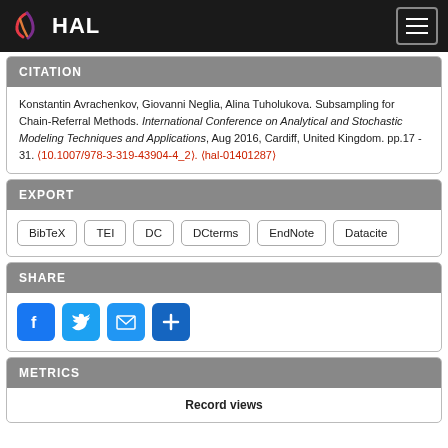HAL
CITATION
Konstantin Avrachenkov, Giovanni Neglia, Alina Tuholukova. Subsampling for Chain-Referral Methods. International Conference on Analytical and Stochastic Modeling Techniques and Applications, Aug 2016, Cardiff, United Kingdom. pp.17 - 31. ⟨10.1007/978-3-319-43904-4_2⟩. ⟨hal-01401287⟩
EXPORT
BibTeX
TEI
DC
DCterms
EndNote
Datacite
SHARE
[Figure (infographic): Social share icons: Facebook, Twitter, Email, and a plus/more button]
METRICS
Record views